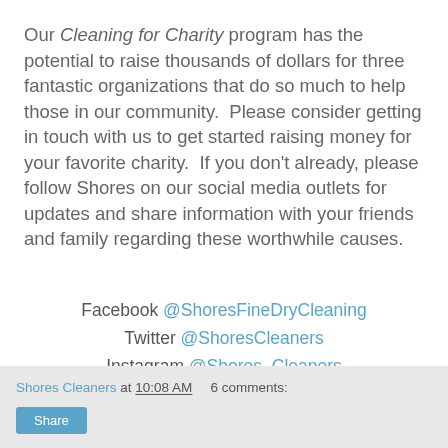Our Cleaning for Charity program has the potential to raise thousands of dollars for three fantastic organizations that do so much to help those in our community.  Please consider getting in touch with us to get started raising money for your favorite charity.  If you don't already, please follow Shores on our social media outlets for updates and share information with your friends and family regarding these worthwhile causes.
Facebook @ShoresFineDryCleaning
Twitter @ShoresCleaners
Instagram @Shores_Cleaners
Include the hashtag #CleaningforCharity
Shores Cleaners at 10:08 AM  6 comments:  Share